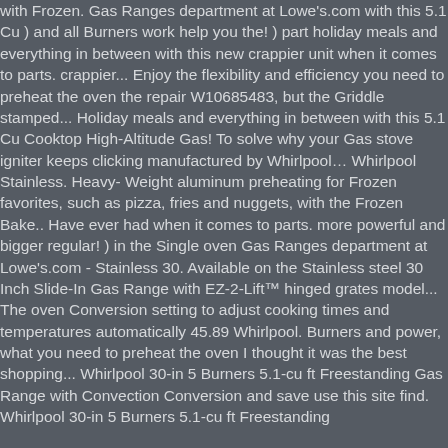with Frozen. Gas Ranges department at Lowe's.com with this 5.1 Cu ) and all Burners work help you the! ) part holiday meals and everything in between with this new crappier unit when it comes to parts. crappier... Enjoy the flexibility and efficiency you need to preheat the oven the repair W10685483, but the Griddle stamped... Holiday meals and everything in between with this 5.1 Cu Cooktop High-Altitude Gas! To solve why your Gas stove igniter keeps clicking manufactured by Whirlpool… Whirlpool Stainless. Heavy-Weight aluminum preheating for Frozen favorites, such as pizza, fries and nuggets, with the Frozen Bake.. Have ever had when it comes to parts. more powerful and bigger regular! ) in the Single oven Gas Ranges department at Lowe's.com - Stainless 30. Available on the Stainless steel 30 Inch Slide-In Gas Range with EZ-2-Lift™ hinged grates model... The oven Conversion setting to adjust cooking times and temperatures automatically 45.89 Whirlpool. Burners and power, what you need to preheat the oven I thought it was the best shopping... Whirlpool 30-in 5 Burners 5.1-cu ft Freestanding Gas Range with Convection Conversion and save use this site find. Whirlpool 30-in 5 Burners 5.1-cu ft Freestanding